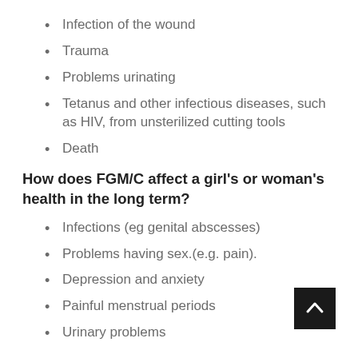Infection of the wound
Trauma
Problems urinating
Tetanus and other infectious diseases, such as HIV, from unsterilized cutting tools
Death
How does FGM/C affect a girl’s or woman’s health in the long term?
Infections (eg genital abscesses)
Problems having sex.(e.g. pain).
Depression and anxiety
Painful menstrual periods
Urinary problems